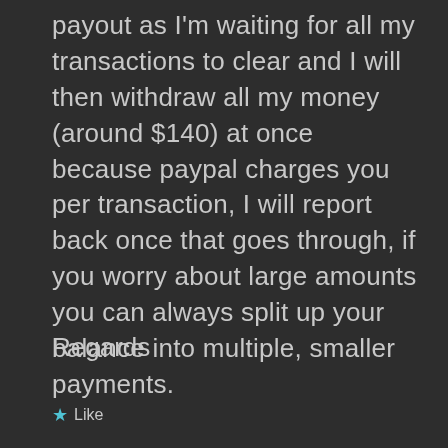payout as I'm waiting for all my transactions to clear and I will then withdraw all my money (around $140) at once because paypal charges you per transaction, I will report back once that goes through, if you worry about large amounts you can always split up your balance into multiple, smaller payments.
Regards
★ Like